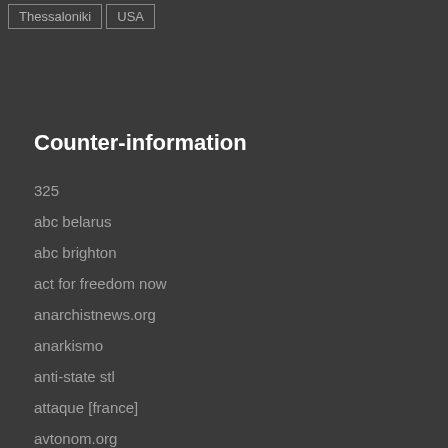Thessaloniki
USA
Counter-information
325
abc belarus
abc brighton
act for freedom now
anarchistnews.org
anarkismo
anti-state stl
attaque [france]
avtonom.org
bite back